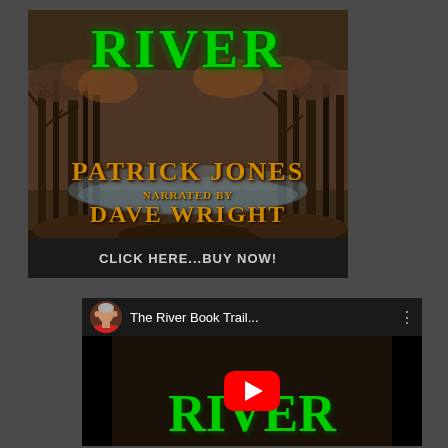[Figure (illustration): Book cover for 'River' by Patrick Jones, narrated by Dave Wright. Dark forest/river background with green gothic lettering for the title 'RIVER' at top, author name 'PATRICK JONES' in gold/orange below, 'NARRATED BY' in smaller text, 'DAVE WRIGHT' in large gold text. Dark bar at bottom with 'CLICK HERE...BUY NOW!' text.]
[Figure (screenshot): YouTube video thumbnail for 'The River Book Trail...' showing a man's avatar photo on left, video title, three-dot menu icon, and large red play button centered over dark background with green gothic 'RIVER' text visible.]